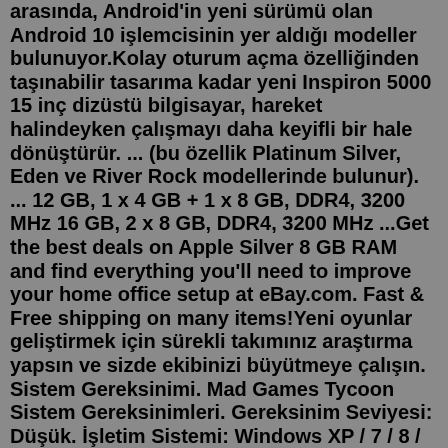arasında, Android'in yeni sürümü olan Android 10 işlemcisinin yer aldığı modeller bulunuyor.Kolay oturum açma özelliğinden taşınabilir tasarıma kadar yeni Inspiron 5000 15 inç dizüstü bilgisayar, hareket halindeyken çalışmayı daha keyifli bir hale dönüştürür. ... (bu özellik Platinum Silver, Eden ve River Rock modellerinde bulunur). ... 12 GB, 1 x 4 GB + 1 x 8 GB, DDR4, 3200 MHz 16 GB, 2 x 8 GB, DDR4, 3200 MHz ...Get the best deals on Apple Silver 8 GB RAM and find everything you'll need to improve your home office setup at eBay.com. Fast & Free shipping on many items!Yeni oyunlar geliştirmek için sürekli takımınız araştırma yapsın ve sizde ekibinizi büyütmeye çalışın. Sistem Gereksinimi. Mad Games Tycoon Sistem Gereksinimleri. Gereksinim Seviyesi: Düşük. İşletim Sistemi: Windows XP / 7 / 8 / 10. İşletim Sistemi Mimarisi: 32/64 Bit. İşlemci: 2.4 Ghz. Bellek: 4 GB RAM. Ekran Kartı ...